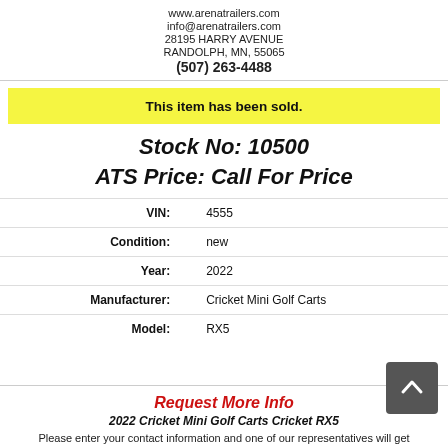www.arenatrailers.com
info@arenatrailers.com
28195 HARRY AVENUE
RANDOLPH, MN, 55065
(507) 263-4488
This item has been sold.
Stock No: 10500
ATS Price: Call For Price
| Field | Value |
| --- | --- |
| VIN: | 4555 |
| Condition: | new |
| Year: | 2022 |
| Manufacturer: | Cricket Mini Golf Carts |
| Model: | RX5 |
Request More Info
2022 Cricket Mini Golf Carts Cricket RX5
Please enter your contact information and one of our representatives will get